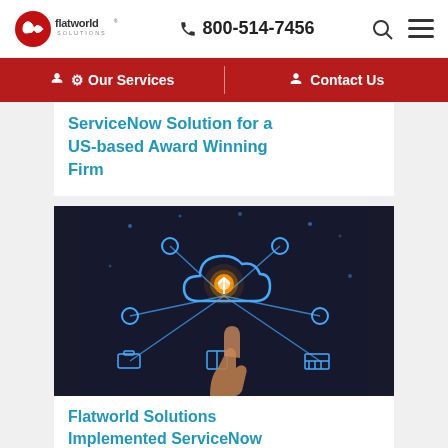flatworld solutions | 800-514-7456
Our Services | Contact Us
ServiceNow Solution for a US-based Award Winning Firm
[Figure (photo): A hand pointing at a glowing cloud icon connected to various service icons in a dark background, illustrating cloud computing and ServiceNow services.]
Flatworld Solutions Implemented ServiceNow for a Leading Provider of